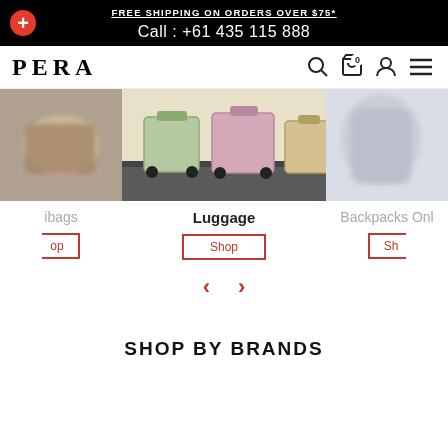FREE SHIPPING ON ORDERS OVER $75*
Call : +61 435 115 888
[Figure (screenshot): PERA logo and navigation bar with search, cart (0), account, and menu icons]
[Figure (photo): Three product category images side by side: partial left (handbags), center (colorful luggage on road), partial right (backpacks). Labels: ibags, Luggage, Backpacks Onl]
ibags
Luggage
Backpacks Onl
Shop (partial left button)
Shop (center button)
Sh (partial right button)
SHOP BY BRANDS